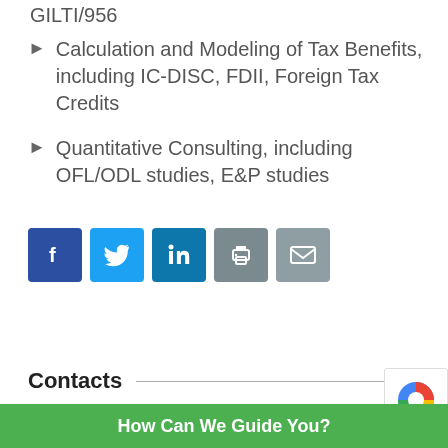GILTI/956
Calculation and Modeling of Tax Benefits, including IC-DISC, FDII, Foreign Tax Credits
Quantitative Consulting, including OFL/ODL studies, E&P studies
[Figure (infographic): Social media sharing buttons: Facebook (blue), Twitter (light blue), LinkedIn (blue), Print (grey), Email (grey)]
Contacts
How Can We Guide You?